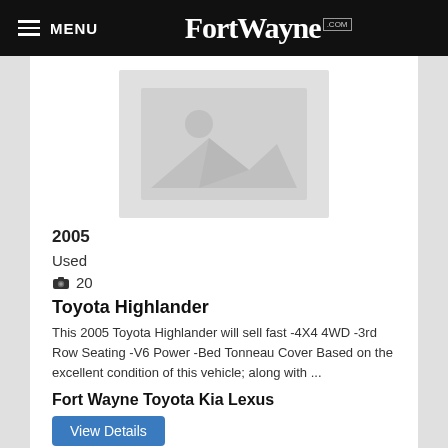MENU FortWayne.com
[Figure (photo): Placeholder image with mountain/landscape icon and sun, gray background]
2005
Used
20
Toyota Highlander
This 2005 Toyota Highlander will sell fast -4X4 4WD -3rd Row Seating -V6 Power -Bed Tonneau Cover Based on the excellent condition of this vehicle; along with ...
Fort Wayne Toyota Kia Lexus
View Details
180,810 mi